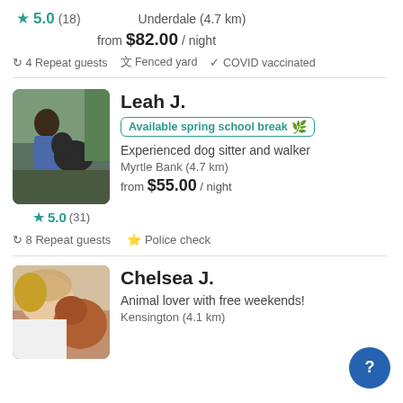★5.0 (18)  Underdale (4.7 km)  from $82.00 / night
4 Repeat guests  Fenced yard  COVID vaccinated
Leah J.
Available spring school break
Experienced dog sitter and walker
Myrtle Bank (4.7 km)
from $55.00 / night
★5.0 (31)
8 Repeat guests  Police check
Chelsea J.
Animal lover with free weekends!
Kensington (4.1 km)